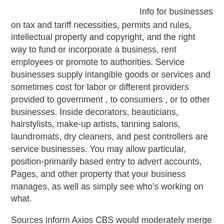Info for businesses on tax and tariff necessities, permits and rules, intellectual property and copyright, and the right way to fund or incorporate a business, rent employees or promote to authorities. Service businesses supply intangible goods or services and sometimes cost for labor or different providers provided to government , to consumers , or to other businesses. Inside decorators, beauticians, hairstylists, make-up artists, tanning salons, laundromats, dry cleaners, and pest controllers are service businesses. You may allow particular, position-primarily based entry to advert accounts, Pages, and other property that your business manages, as well as simply see who’s working on what.
Sources inform Axios CBS would moderately merge with an organization that is higher positioned out there to distribute digital content, like a tech or telecom company, than a cable firm whose many channels would make it more